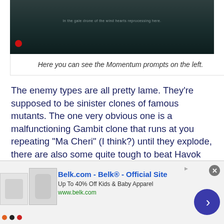[Figure (screenshot): Dark game screenshot showing a scene with subtitle text visible at top center]
Here you can see the Momentum prompts on the left.
The enemy types are all pretty lame. They're supposed to be sinister clones of famous mutants. The one very obvious one is a malfunctioning Gambit clone that runs at you repeating “Ma Cheri” (I think?) until they explode, there are also some quite tough to beat Havok clones who do a lot of damage using Havok’s signature chest-beam.
The others aren’t so clear though. There’s a really, really annoying enemy type which flies through the ai...